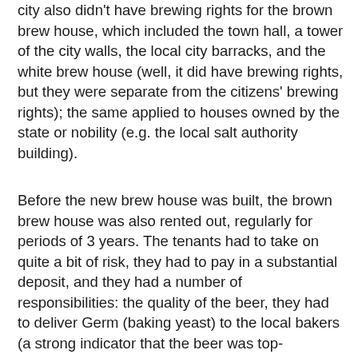city also didn't have brewing rights for the brown brew house, which included the town hall, a tower of the city walls, the local city barracks, and the white brew house (well, it did have brewing rights, but they were separate from the citizens' brewing rights); the same applied to houses owned by the state or nobility (e.g. the local salt authority building).
Before the new brew house was built, the brown brew house was also rented out, regularly for periods of 3 years. The tenants had to take on quite a bit of risk, they had to pay in a substantial deposit, and they had a number of responsibilities: the quality of the beer, they had to deliver Germ (baking yeast) to the local bakers (a strong indicator that the beer was top-fermented), they had to take care of selling the spent grains, they had to pay the brewer, the brewing workers, the coopers and the beer transporters. But they also had certain privileges: they were allowed to export beer on their own, and they were allowed to confiscate as contraband any beer or cider (Most) imported by innkeepers, of which they were allowed to keep